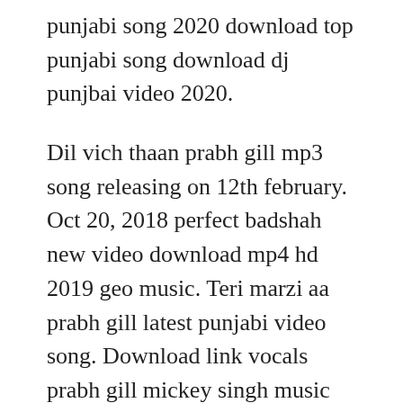punjabi song 2020 download top punjabi song download dj punjbai video 2020.
Dil vich thaan prabh gill mp3 song releasing on 12th february. Oct 20, 2018 perfect badshah new video download mp4 hd 2019 geo music. Teri marzi aa prabh gill latest punjabi video song. Download link vocals prabh gill mickey singh music gur lyrics maninder kailey director sukh. Teri marzi aa prabh gill latest punjabi video songs. Download full sone diya waliyan mp3 song from movie and the song is sung by singer